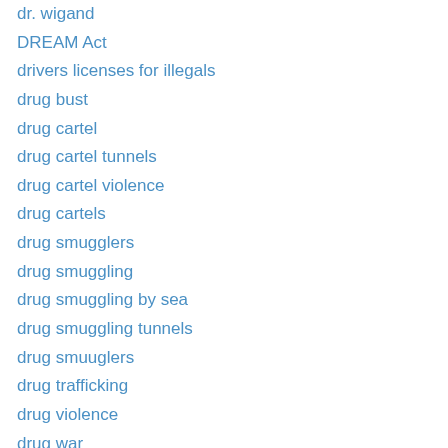dr. wigand
DREAM Act
drivers licenses for illegals
drug bust
drug cartel
drug cartel tunnels
drug cartel violence
drug cartels
drug smugglers
drug smuggling
drug smuggling by sea
drug smuggling tunnels
drug smuuglers
drug trafficking
drug violence
drug war
drugs
drunk driving
dubois